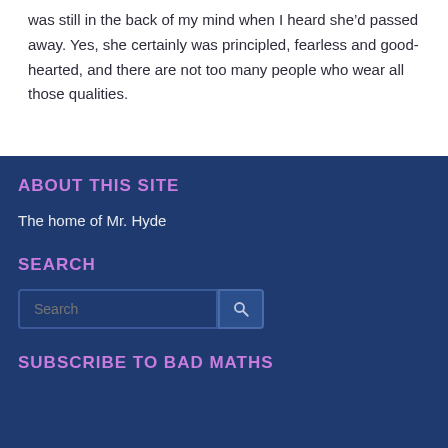was still in the back of my mind when I heard she’d passed away. Yes, she certainly was principled, fearless and good-hearted, and there are not too many people who wear all those qualities.
ABOUT THIS SITE
The home of Mr. Hyde
SEARCH
SUBSCRIBE TO BAD MATHS